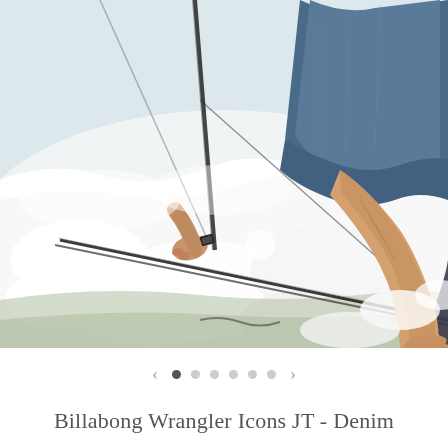[Figure (photo): Close-up action shot of a surfer riding a wave. The surfer is wearing denim shorts and holding a surfboard. The image shows churning white water and foam. The surfer's legs and bare feet are visible, along with one hand gripping the board. The surfboard extends diagonally across the frame.]
< • ○ ○ ○ ○ >
Billabong Wrangler Icons JT - Denim